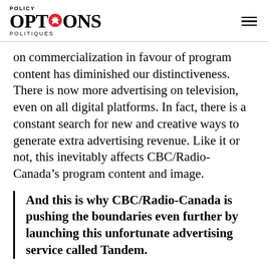POLICY OPTIONS POLITIQUES
on commercialization in favour of program content has diminished our distinctiveness. There is now more advertising on television, even on all digital platforms. In fact, there is a constant search for new and creative ways to generate extra advertising revenue. Like it or not, this inevitably affects CBC/Radio-Canada’s program content and image.
And this is why CBC/Radio-Canada is pushing the boundaries even further by launching this unfortunate advertising service called Tandem.